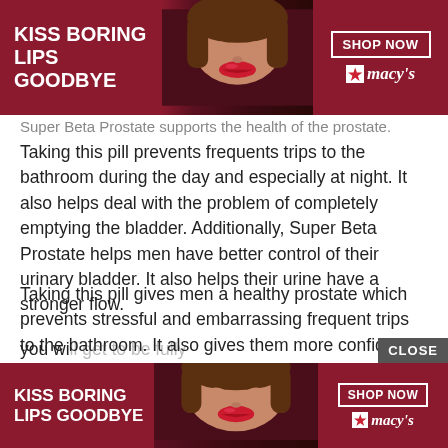[Figure (other): Macy's advertisement banner — 'KISS BORING LIPS GOODBYE' with woman's face and red lips, SHOP NOW button and Macy's star logo]
Super Beta Prostate supports the health of the prostate.
Taking this pill prevents frequents trips to the bathroom during the day and especially at night. It also helps deal with the problem of completely emptying the bladder. Additionally, Super Beta Prostate helps men have better control of their urinary bladder. It also helps their urine have a stronger flow.
Taking this pill gives men a healthy prostate which prevents stressful and embarrassing frequent trips to the bathroom. It also gives them more confidence knowing that they have full control of their prostate and their body in general.
When frequent trips to the bathroom at night are prevented,
you wi...fully rested...d
[Figure (other): Macy's advertisement banner (bottom) — 'KISS BORING LIPS GOODBYE' with woman's face and red lips, SHOP NOW button and Macy's star logo. CLOSE button overlaid.]